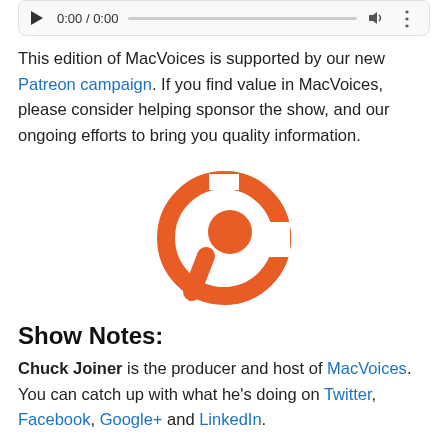[Figure (screenshot): Audio player bar showing play button, 0:00 / 0:00 timestamp, progress bar, volume icon, and options dots]
This edition of MacVoices is supported by our new Patreon campaign. If you find value in MacVoices, please consider helping sponsor the show, and our ongoing efforts to bring you quality information.
[Figure (logo): Patreon logo - orange stylized P icon]
Show Notes:
Chuck Joiner is the producer and host of MacVoices. You can catch up with what he's doing on Twitter, Facebook, Google+ and LinkedIn.